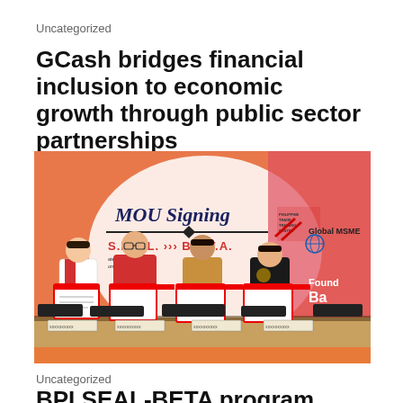Uncategorized
GCash bridges financial inclusion to economic growth through public sector partnerships
[Figure (photo): Four people standing at a table holding signed MOU documents at an MOU Signing event. A banner in the background reads 'MOU Signing S.E.A.L. B.E.T.A.' with logos for Philippine Trade Training Center, Global MSME Foundation, and BPI visible.]
Uncategorized
BPI SEAL-BETA program helps micro entrepreneurs grow and aid the economy in